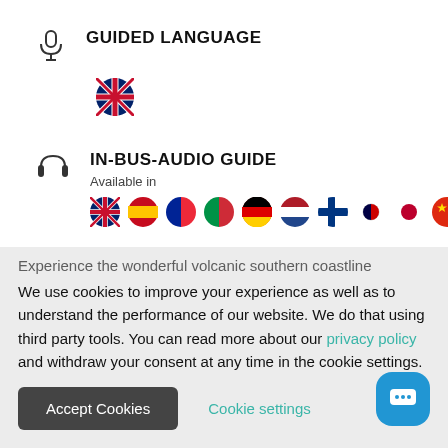GUIDED LANGUAGE
[Figure (illustration): UK flag circle emoji representing English language]
IN-BUS-AUDIO GUIDE
Available in
[Figure (illustration): Row of flag circles: UK, Spain, France, Italy, Germany, Netherlands, Finland, South Korea, Japan, China]
Experience the wonderful volcanic southern coastline
We use cookies to improve your experience as well as to understand the performance of our website. We do that using third party tools. You can read more about our privacy policy and withdraw your consent at any time in the cookie settings.
Accept Cookies
Cookie settings